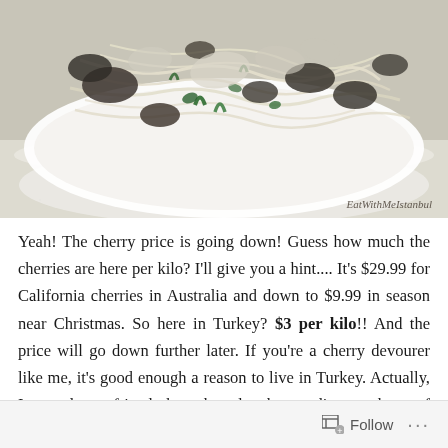[Figure (photo): A white ceramic bowl filled with a stir-fry dish containing glass noodles, dark mushrooms, and green vegetables. The bowl sits on a light speckled surface. Watermark reads 'EatWithMeIstanbul' in the bottom right corner.]
Yeah! The cherry price is going down! Guess how much the cherries are here per kilo? I'll give you a hint.... It's $29.99 for California cherries in Australia and down to $9.99 in season near Christmas. So here in Turkey? $3 per kilo!! And the price will go down further later. If you're a cherry devourer like me, it's good enough a reason to live in Turkey. Actually, I teased my friend the other day by sending a photo of cherries spilling out of the bowl and she was so tempted
Follow ...